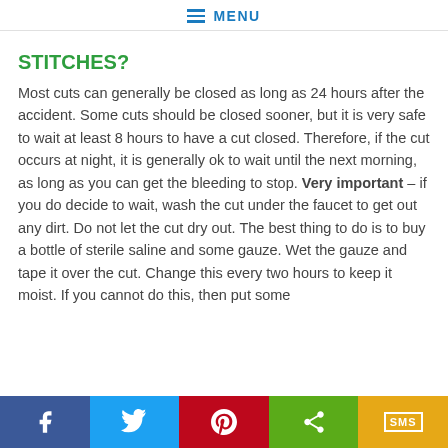MENU
STITCHES?
Most cuts can generally be closed as long as 24 hours after the accident. Some cuts should be closed sooner, but it is very safe to wait at least 8 hours to have a cut closed. Therefore, if the cut occurs at night, it is generally ok to wait until the next morning, as long as you can get the bleeding to stop. Very important – if you do decide to wait, wash the cut under the faucet to get out any dirt. Do not let the cut dry out. The best thing to do is to buy a bottle of sterile saline and some gauze. Wet the gauze and tape it over the cut. Change this every two hours to keep it moist. If you cannot do this, then put some